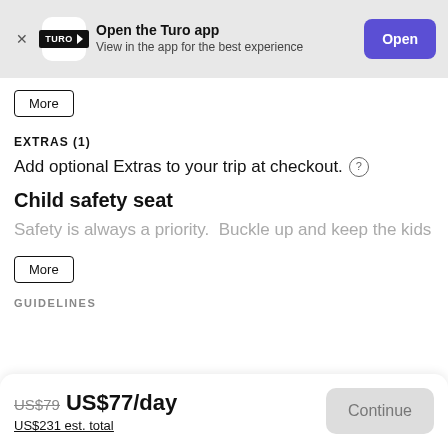[Figure (screenshot): App banner with Turo logo, 'Open the Turo app' title, subtitle 'View in the app for the best experience', and a purple 'Open' button]
More
EXTRAS (1)
Add optional Extras to your trip at checkout. (?)
Child safety seat
Safety is always a priority.  Buckle up and keep the kids
More
GUIDELINES
US$79 US$77/day
US$231 est. total
Continue